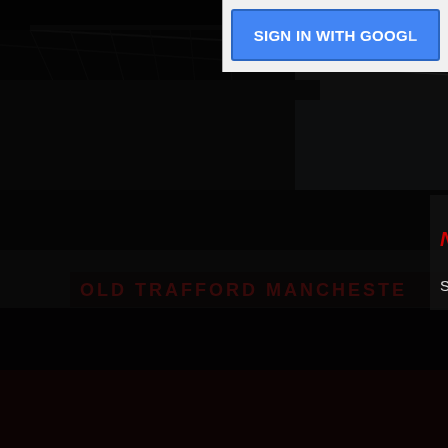[Figure (screenshot): Dark screenshot of a blog/website page with Old Trafford stadium image as background. The image is very dark. Upper right shows a 'SIGN IN WITH GOOGLE' button in blue. In the center-right area, red italic text reads 'Newer Post'. Below that, white text reads 'Subscribe to:' followed by a red link text 'Post Comments'. The stadium shows 'OLD TRAFFORD MANCHESTER' signage and 'THE THEATRE OF DREAMS' branding.]
SIGN IN WITH GOOGLE
Newer Post
Subscribe to: Post Comments